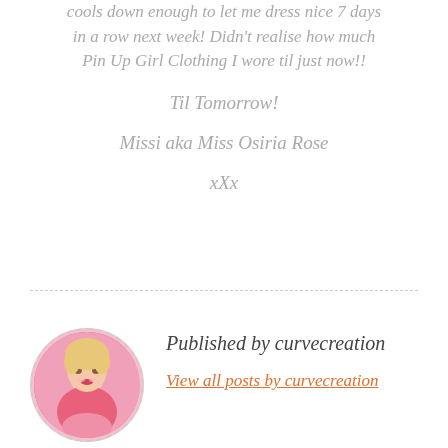cools down enough to let me dress nice 7 days in a row next week! Didn't realise how much Pin Up Girl Clothing I wore til just now!!
Til Tomorrow!
Missi aka Miss Osiria Rose
xXx
[Figure (photo): Circular avatar photo of a blonde woman posing with hands under chin, surrounded by pink floral background]
Published by curvecreation
View all posts by curvecreation